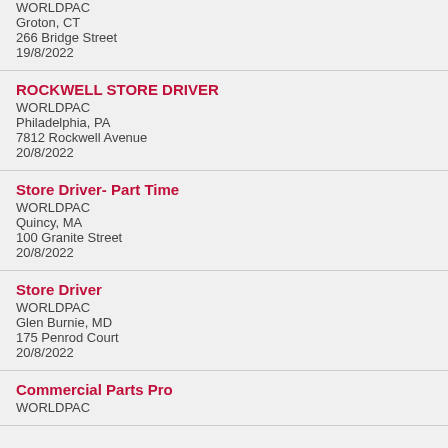WORLDPAC
Groton, CT
266 Bridge Street
19/8/2022
ROCKWELL STORE DRIVER
WORLDPAC
Philadelphia, PA
7812 Rockwell Avenue
20/8/2022
Store Driver- Part Time
WORLDPAC
Quincy, MA
100 Granite Street
20/8/2022
Store Driver
WORLDPAC
Glen Burnie, MD
175 Penrod Court
20/8/2022
Commercial Parts Pro
WORLDPAC